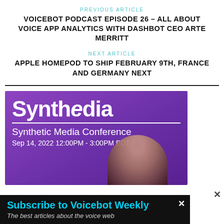PREVIOUS ARTICLE
VOICEBOT PODCAST EPISODE 26 – ALL ABOUT VOICE APP ANALYTICS WITH DASHBOT CEO ARTE MERRITT
NEXT ARTICLE
APPLE HOMEPOD TO SHIP FEBRUARY 9TH, FRANCE AND GERMANY NEXT
[Figure (advertisement): Synthedia Synthetic Media Conference advertisement banner with purple background. Shows 'Synthedia' in large white text, subtitle 'Synthetic Media Conference', date 'Sep 14, 2022 12:00PM - 3:00PM EDT', and a partial face.]
Subscribe to Voicebot Weekly
The best articles about the voice web